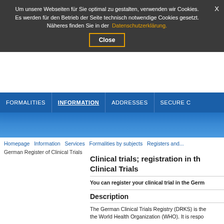Um unsere Webseiten für Sie optimal zu gestalten, verwenden wir Cookies. Es werden für den Betrieb der Seite technisch notwendige Cookies gesetzt. Näheres finden Sie in der Datenschutzerklärung.
Close
FORMALITIES | INFORMATION | ADDRESSES | SECURE C...
Homepage   Information   Services   Formalities by subjects   Registers and...
German Register of Clinical Trials
Information
Services
Formalities by subjects
Registers and directories
Further registers and directories
LOCALIZATION
Please select for displaying additional information.
Clinical trials; registration in the German Register of Clinical Trials
You can register your clinical trial in the German...
Description
The German Clinical Trials Registry (DRKS) is the... the World Health Organization (WHO). It is respo...
conducted in Germany and are
are patient-oriented.